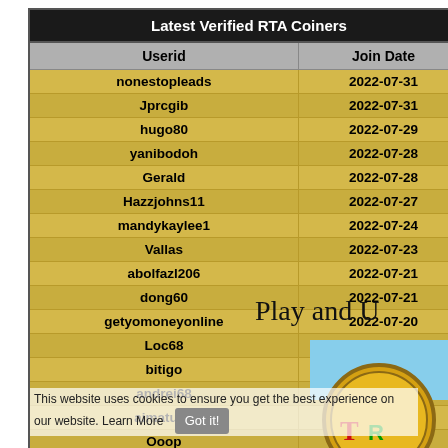| Userid | Join Date |
| --- | --- |
| nonestopleads | 2022-07-31 |
| Jprcgib | 2022-07-31 |
| hugo80 | 2022-07-29 |
| yanibodoh | 2022-07-28 |
| Gerald | 2022-07-28 |
| Hazzjohns11 | 2022-07-27 |
| mandykaylee1 | 2022-07-24 |
| Vallas | 2022-07-23 |
| abolfazl206 | 2022-07-21 |
| dong60 | 2022-07-21 |
| getyomoneyonline | 2022-07-20 |
| Loc68 | 2022-07-19 |
| bitigo | 2022-07-18 |
| andrei68 | 2022-07-13 |
| aimatupe | 2022-07-04 |
| Ooop | 2022-06-28 |
| khufu | 2022-06-27 |
| Redzey833 | 2022-06-11 |
| debbiedollars | 2022-06-07 |
| CryptoBase360 | 2022-06-07 |
Play and U
This website uses cookies to ensure you get the best experience on our website. Learn More